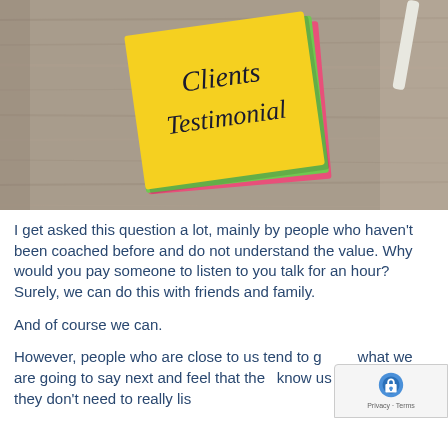[Figure (photo): A stack of colorful post-it note pads on a wooden surface. The top yellow note reads 'Clients Testimonial' in cursive handwriting. The stack has pink, green, and yellow layers visible on the sides.]
I get asked this question a lot, mainly by people who haven't been coached before and do not understand the value. Why would you pay someone to listen to you talk for an hour? Surely, we can do this with friends and family.
And of course we can.
However, people who are close to us tend to guess what we are going to say next and feel that they know us so well that they don't need to really listen.